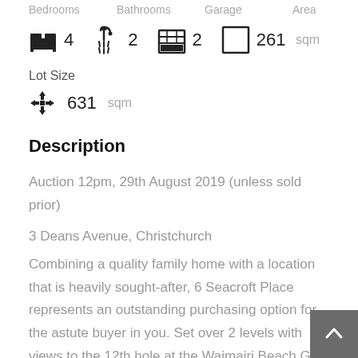Bedrooms  Bathrooms  Garage  Area
4 bedrooms  2 bathrooms  2 garage  261 sqm
Lot Size
631 sqm
Description
Auction 12pm, 29th August 2019 (unless sold prior)
3 Deans Avenue, Christchurch
Combining a quality family home with a location that is heavily sought-after, 6 Seacroft Place represents an outstanding purchasing option for the astute buyer in you. Set over 2 levels with views to the 12th hole at the Waimairi Beach Golf